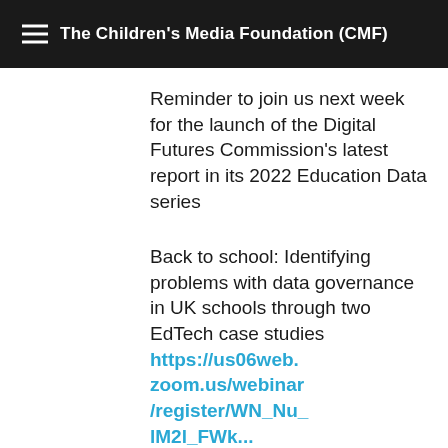The Children's Media Foundation (CMF)
Reminder to join us next week for the launch of the Digital Futures Commission's latest report in its 2022 Education Data series
Back to school: Identifying problems with data governance in UK schools through two EdTech case studies https://us06web.zoom.us/webinar/register/WN_Nu_